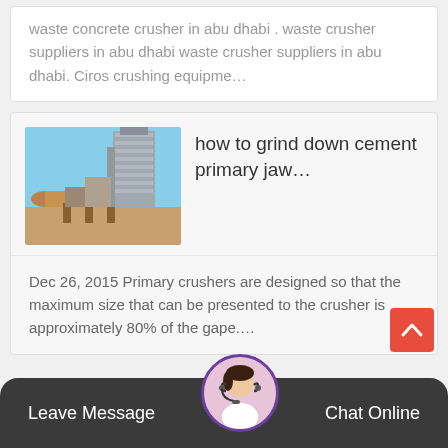waste concrete crusher in abu dhabi . waste crusher suppliers in abu dhabi waste crusher suppliers in abu dhabi. Ciros crushing equipme...
[Figure (photo): Industrial cement plant or crushing facility with large cylindrical rotary kiln and multi-story tower structure against blue sky]
how to grind down cement primary jaw...
Dec 26, 2015 Primary crushers are designed so that the maximum size that can be presented to the crusher is approximately 80% of the gape....
Leave Message  Chat Online